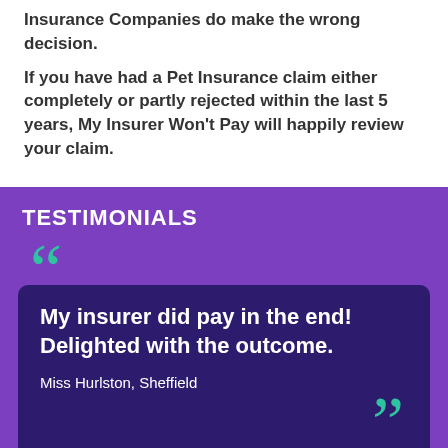Insurance Companies do make the wrong decision.
If you have had a Pet Insurance claim either completely or partly rejected within the last 5 years, My Insurer Won't Pay will happily review your claim.
TESTIMONIALS
My insurer did pay in the end! Delighted with the outcome.
Miss Hurlston, Sheffield